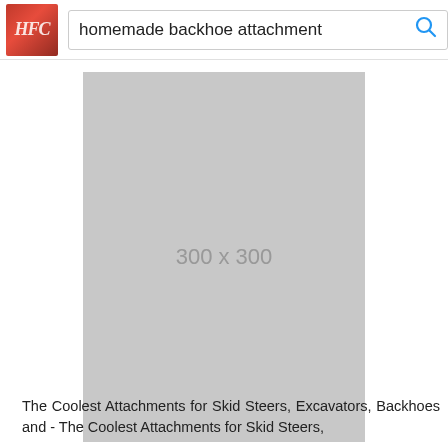homemade backhoe attachment
[Figure (other): Gray placeholder image box labeled 300 x 300]
The Coolest Attachments for Skid Steers, Excavators, Backhoes and - The Coolest Attachments for Skid Steers,